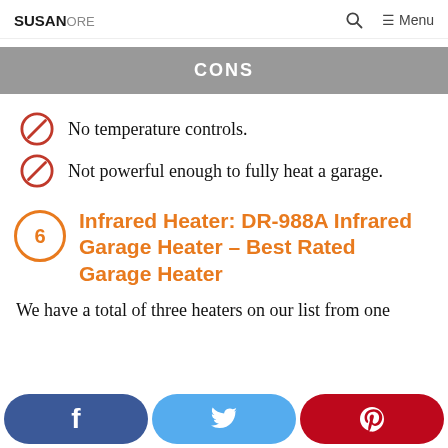SUSANORE  🔍  ≡ Menu
CONS
No temperature controls.
Not powerful enough to fully heat a garage.
6  Infrared Heater: DR-988A Infrared Garage Heater – Best Rated Garage Heater
We have a total of three heaters on our list from one manufacturer – Dr. Infrared Heater. The first is